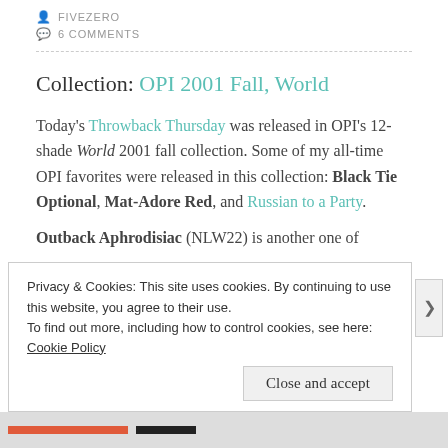FIVEZERO
6 COMMENTS
Collection: OPI 2001 Fall, World
Today's Throwback Thursday was released in OPI's 12-shade World 2001 fall collection. Some of my all-time OPI favorites were released in this collection: Black Tie Optional, Mat-Adore Red, and Russian to a Party.
Outback Aphrodisiac (NLW22) is another one of
Privacy & Cookies: This site uses cookies. By continuing to use this website, you agree to their use.
To find out more, including how to control cookies, see here: Cookie Policy
Close and accept